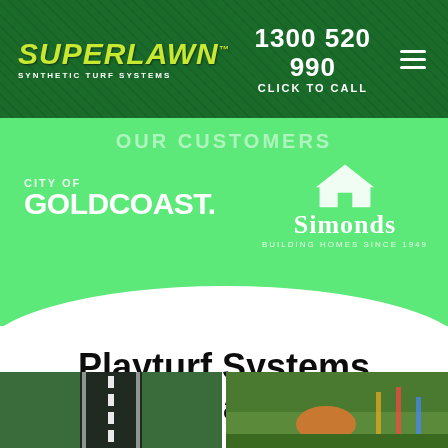SUPERLAWN SYNTHETIC TURF SYSTEMS | 1300 520 990 CLICK TO CALL
OUR CUSTOMERS
[Figure (logo): City of Gold Coast logo — white text reading CITY OF GOLDCOAST. on green background]
[Figure (logo): Simonds Building Homes Since 1949 logo — white house icon and text on green background]
Playturf Systems Installations
[Figure (photo): Synthetic turf installation showing a runway/road marking pattern in green and black]
[Figure (photo): Playground area with synthetic turf and play equipment]